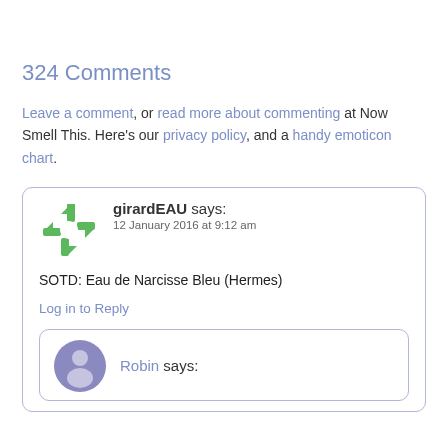324 Comments
Leave a comment, or read more about commenting at Now Smell This. Here's our privacy policy, and a handy emoticon chart.
girardEAU says: 12 January 2016 at 9:12 am
SOTD: Eau de Narcisse Bleu (Hermes)
Log in to Reply
Robin says: